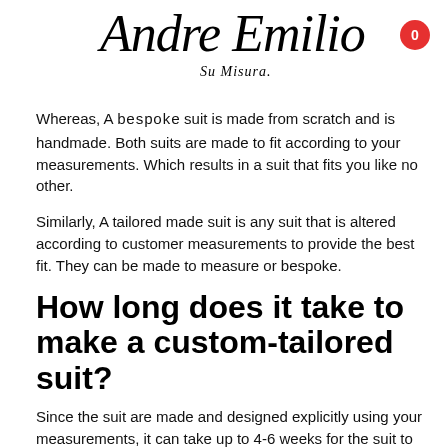[Figure (logo): Andre Emilio Su Misura script logo in italic serif font with cart badge showing 0]
Whereas, A bespoke suit is made from scratch and is handmade. Both suits are made to fit according to your measurements. Which results in a suit that fits you like no other.
Similarly, A tailored made suit is any suit that is altered according to customer measurements to provide the best fit. They can be made to measure or bespoke.
How long does it take to make a custom-tailored suit?
Since the suit are made and designed explicitly using your measurements, it can take up to 4-6 weeks for the suit to be ready. We believe a suit is like greatness, you shouldn't rush for it. Our highly skilled tailors work patiently to provide the best fit in the given time.